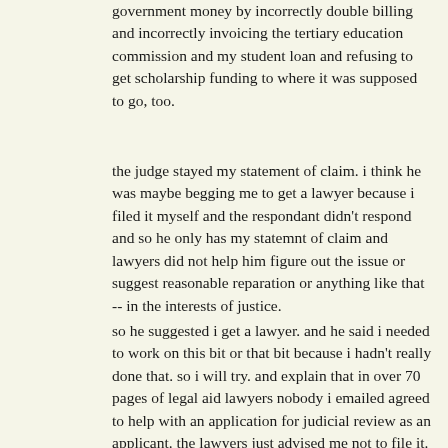government money by incorrectly double billing and incorrectly invoicing the tertiary education commission and my student loan and refusing to get scholarship funding to where it was supposed to go, too.
the judge stayed my statement of claim. i think he was maybe begging me to get a lawyer because i filed it myself and the respondant didn't respond and so he only has my statemnt of claim and lawyers did not help him figure out the issue or suggest reasonable reparation or anything like that -- in the interests of justice.
so he suggested i get a lawyer. and he said i needed to work on this bit or that bit because i hadn't really done that. so i will try. and explain that in over 70 pages of legal aid lawyers nobody i emailed agreed to help with an application for judicial review as an applicant. the lawyers just advised me not to file it. which was not helpeful of them.
and one lawyer wasted 2 months of my time to construe the issue less plausibly than me (i believe) so as to throw the case (i believe) or demonstrated his incompetence (i belive) before 'remembering' a